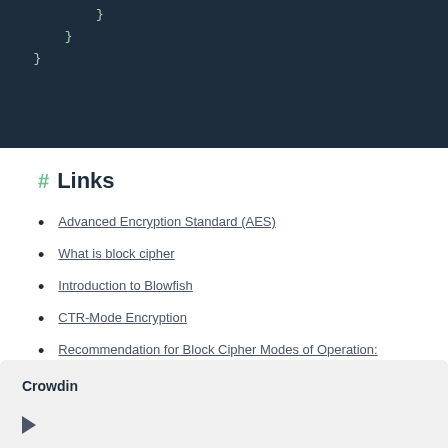[Figure (screenshot): Dark blue code block showing closing braces of a code snippet]
# Links
Advanced Encryption Standard (AES)
What is block cipher
Introduction to Blowfish
CTR-Mode Encryption
Recommendation for Block Cipher Modes of Operation: Methods and Techniques
Counter (CTR) mode
Crowdin